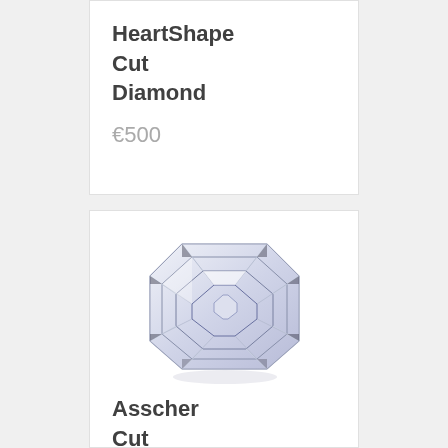HeartShape Cut Diamond
€500
[Figure (photo): Asscher cut diamond gemstone viewed from above, showing octagonal stepped facets with reflection below]
Asscher Cut Diamond
€500